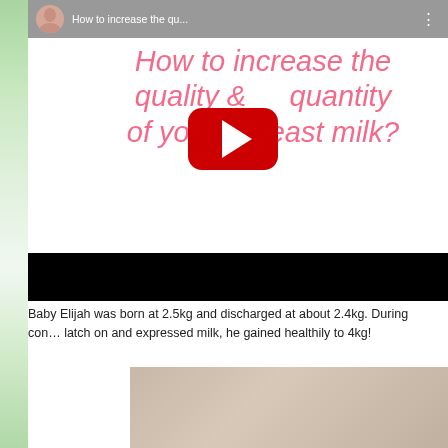[Figure (screenshot): YouTube video thumbnail showing handwritten pink text 'How to increase the quality & quantity of your breast milk?' with a YouTube play button overlay and a small avatar in the title bar]
[Figure (photo): Black redacted/privacy bar covering part of the image]
Baby Elijah was born at 2.5kg and discharged at about 2.4kg. During consultation to latch on and expressed milk, he gained healthily to 4kg!
[Figure (photo): Photo of an Asian woman smiling, with a Chat button overlay in the bottom right corner]